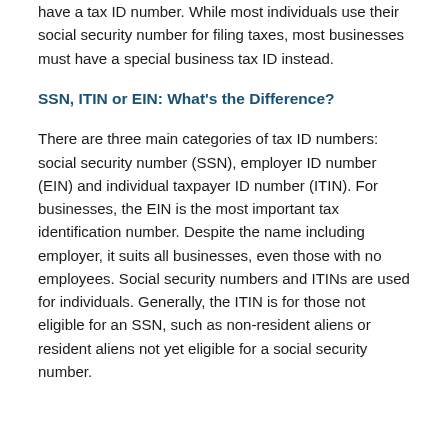have a tax ID number. While most individuals use their social security number for filing taxes, most businesses must have a special business tax ID instead.
SSN, ITIN or EIN: What's the Difference?
There are three main categories of tax ID numbers: social security number (SSN), employer ID number (EIN) and individual taxpayer ID number (ITIN). For businesses, the EIN is the most important tax identification number. Despite the name including employer, it suits all businesses, even those with no employees. Social security numbers and ITINs are used for individuals. Generally, the ITIN is for those not eligible for an SSN, such as non-resident aliens or resident aliens not yet eligible for a social security number.